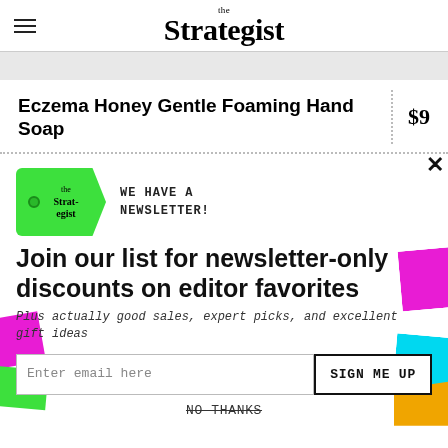the Strategist
Eczema Honey Gentle Foaming Hand Soap
$9
[Figure (infographic): Newsletter signup popup with green price-tag logo reading 'the Strategist', colorful decorative shapes (magenta, green, cyan, orange), headline 'Join our list for newsletter-only discounts on editor favorites', subtext 'Plus actually good sales, expert picks, and excellent gift ideas', email input field, SIGN ME UP button, and NO THANKS strikethrough link.]
WE HAVE A NEWSLETTER!
Join our list for newsletter-only discounts on editor favorites
Plus actually good sales, expert picks, and excellent gift ideas
Enter email here
SIGN ME UP
NO THANKS